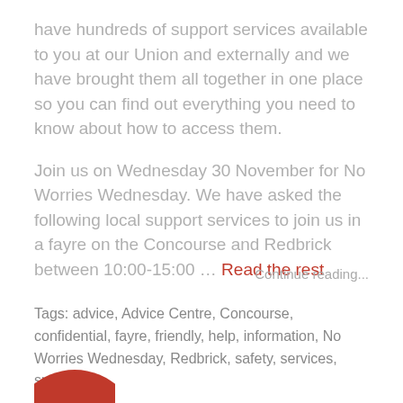have hundreds of support services available to you at our Union and externally and we have brought them all together in one place so you can find out everything you need to know about how to access them.
Join us on Wednesday 30 November for No Worries Wednesday. We have asked the following local support services to join us in a fayre on the Concourse and Redbrick between 10:00-15:00 … Read the rest
Continue reading...
Tags: advice, Advice Centre, Concourse, confidential, fayre, friendly, help, information, No Worries Wednesday, Redbrick, safety, services, support